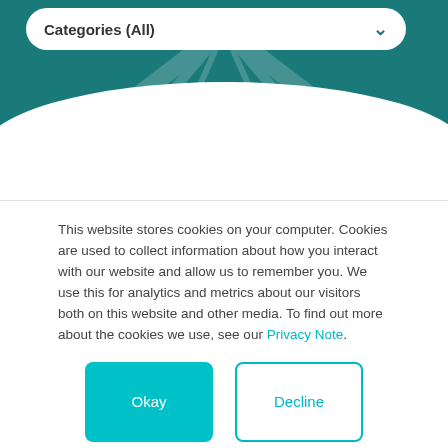[Figure (screenshot): Top section with teal background showing a search/filter bar labeled 'Categories (All)' with a dropdown chevron, and a curved white arch below]
This website stores cookies on your computer. Cookies are used to collect information about how you interact with our website and allow us to remember you. We use this for analytics and metrics about our visitors both on this website and other media. To find out more about the cookies we use, see our Privacy Note.
Okay
Decline